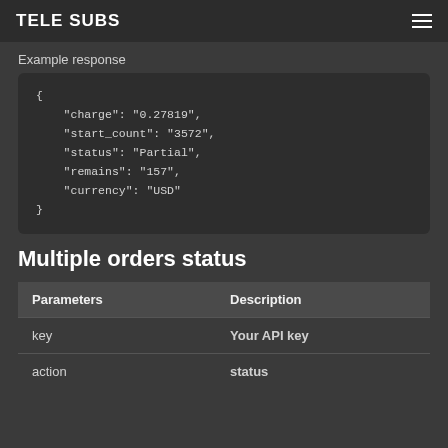TELE SUBS
Example response
{
    "charge": "0.27819",
    "start_count": "3572",
    "status": "Partial",
    "remains": "157",
    "currency": "USD"
}
Multiple orders status
| Parameters | Description |
| --- | --- |
| key | Your API key |
| action | status |